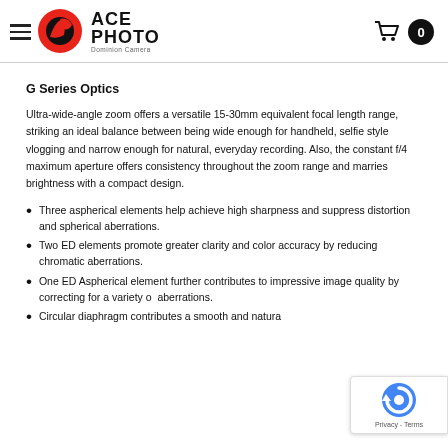ACE PHOTO Dominion Camera — navigation header with logo and cart
G Series Optics
Ultra-wide-angle zoom offers a versatile 15-30mm equivalent focal length range, striking an ideal balance between being wide enough for handheld, selfie style vlogging and narrow enough for natural, everyday recording. Also, the constant f/4 maximum aperture offers consistency throughout the zoom range and marries brightness with a compact design.
Three aspherical elements help achieve high sharpness and suppress distortion and spherical aberrations.
Two ED elements promote greater clarity and color accuracy by reducing chromatic aberrations.
One ED Aspherical element further contributes to impressive image quality by correcting for a variety of aberrations.
Circular diaphragm contributes a smooth and natural bokeh quality.